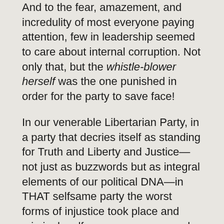And to the fear, amazement, and incredulity of most everyone paying attention, few in leadership seemed to care about internal corruption. Not only that, but the whistle-blower herself was the one punished in order for the party to save face!
In our venerable Libertarian Party, in a party that decries itself as standing for Truth and Liberty and Justice—not just as buzzwords but as integral elements of our political DNA—in THAT selfsame party the worst forms of injustice took place and criminal malfeasance was covered up, brushed under the rug, and the whistle-blower silenced.
This, readers, is completely unacceptable.
NOT IN MY LIBERTATIAN PARTY!
“Lukewarm Libertarianism”: Food Neither